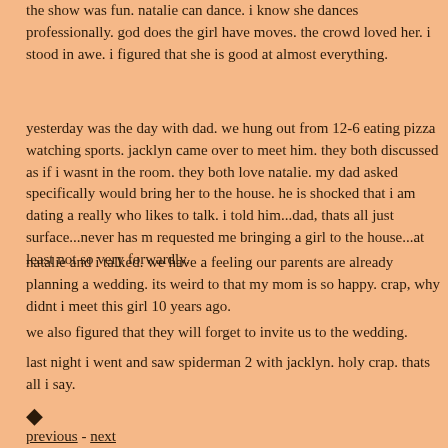the show was fun. natalie can dance. i know she dances professionally. god does the girl have moves. the crowd loved her. i stood in awe. i figured that she is good at almost everything.
yesterday was the day with dad. we hung out from 12-6 eating pizza watching sports. jacklyn came over to meet him. they both discussed as if i wasnt in the room. they both love natalie. my dad asked specifically would bring her to the house. he is shocked that i am dating a really who likes to talk. i told him...dad, thats all just surface...never has m requested me bringing a girl to the house...at least not so very forwardly.
natalie and i talked. we have a feeling our parents are already planning a wedding. its weird to that my mom is so happy. crap, why didnt i meet this girl 10 years ago.
we also figured that they will forget to invite us to the wedding.
last night i went and saw spiderman 2 with jacklyn. holy crap. thats all i say.
◆
previous - next